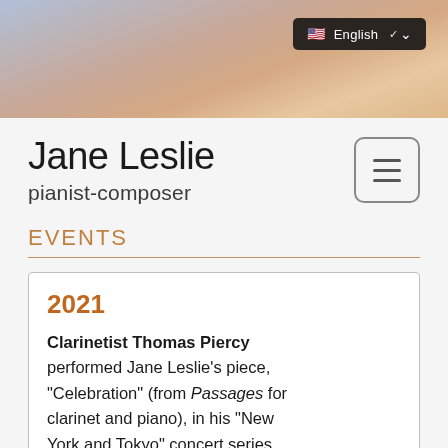[Figure (photo): Sunset sky background header image with warm pink, orange and blue tones; contains a dark language selector button showing a US flag and 'English' with a chevron]
Jane Leslie
pianist-composer
EVENTS
2021
Clarinetist Thomas Piercy performed Jane Leslie's piece, "Celebration" (from Passages for clarinet and piano), in his "New York and Tokyo" concert series